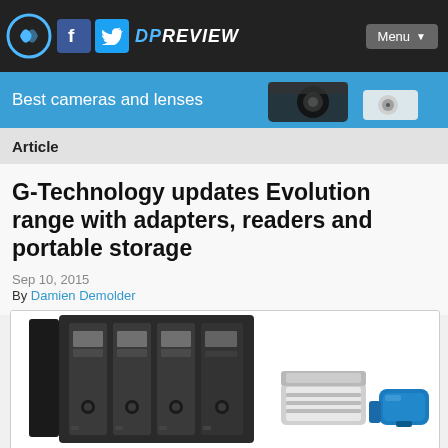DP Review | Best cameras and lenses | Menu
Article
G-Technology updates Evolution range with adapters, readers and portable storage
Sep 10, 2015
By Damien Demolder
[Figure (photo): G-Technology Evolution range products: a multi-bay drive enclosure open showing drives, and smaller portable storage devices]